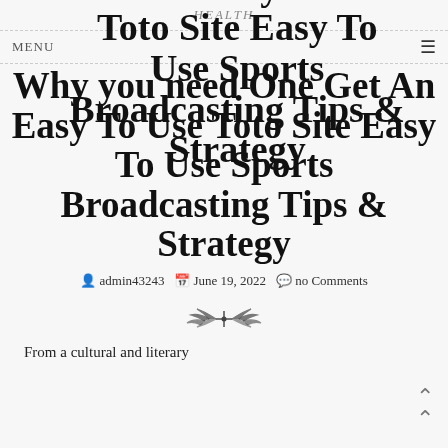HEALTH
Why you need One Get An Easy To Use Toto Site Easy To Use Sports Broadcasting Tips & Strategy
admin43243   June 19, 2022   no Comments
[Figure (illustration): Decorative ornament divider with leaf/branch motif]
From a cultural and literary